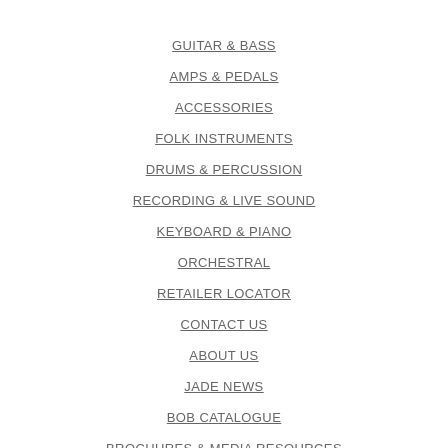GUITAR & BASS
AMPS & PEDALS
ACCESSORIES
FOLK INSTRUMENTS
DRUMS & PERCUSSION
RECORDING & LIVE SOUND
KEYBOARD & PIANO
ORCHESTRAL
RETAILER LOCATOR
CONTACT US
ABOUT US
JADE NEWS
BOB CATALOGUE
BROCHURES & MEDIA RESOURCES